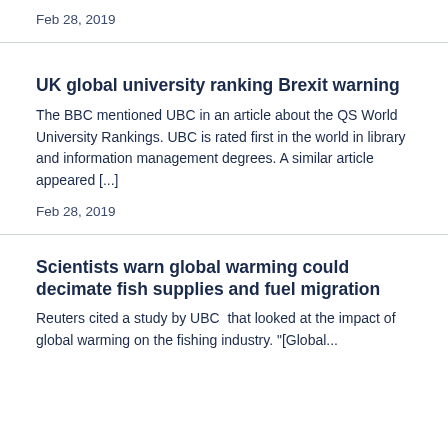Feb 28, 2019
UK global university ranking Brexit warning
The BBC mentioned UBC in an article about the QS World University Rankings. UBC is rated first in the world in library and information management degrees. A similar article appeared [...]
Feb 28, 2019
Scientists warn global warming could decimate fish supplies and fuel migration
Reuters cited a study by UBC  that looked at the impact of global warming on the fishing industry. "[Global...